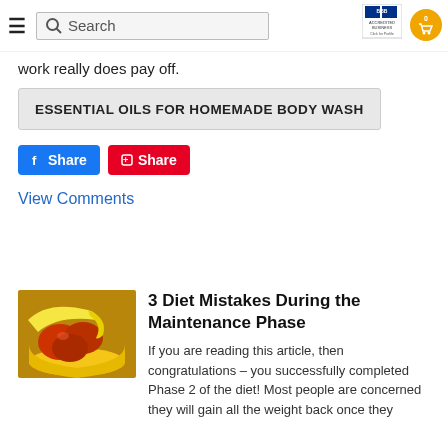Search
work really does pay off.
ESSENTIAL OILS FOR HOMEMADE BODY WASH
Share  Share
View Comments
[Figure (photo): Bowl of fruit including bananas and tomatoes/sweet potatoes]
3 Diet Mistakes During the Maintenance Phase
If you are reading this article, then congratulations – you successfully completed Phase 2 of the diet! Most people are concerned they will gain all the weight back once they